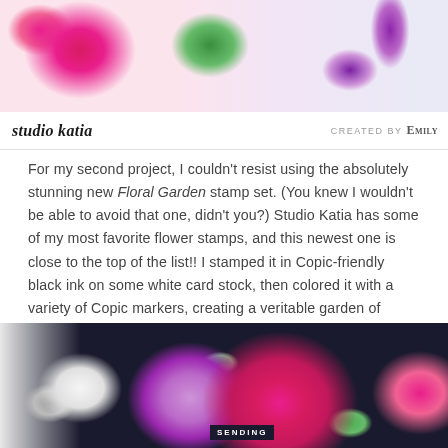[Figure (photo): Top banner photo showing pink and red flowers, green foliage, and a purple ribbon on white background]
studio katia — CREATED BY Emily
For my second project, I couldn't resist using the absolutely stunning new Floral Garden stamp set. (You knew I wouldn't be able to avoid that one, didn't you?) Studio Katia has some of my most favorite flower stamps, and this newest one is close to the top of the list!! I stamped it in Copic-friendly black ink on some white card stock, then colored it with a variety of Copic markers, creating a veritable garden of gorgeous blooms on my card stock.
[Figure (photo): Bottom photo showing colorful floral cards with large pink and purple blooms colored with Copic markers on dark background, with a 'SENDING' tag visible]